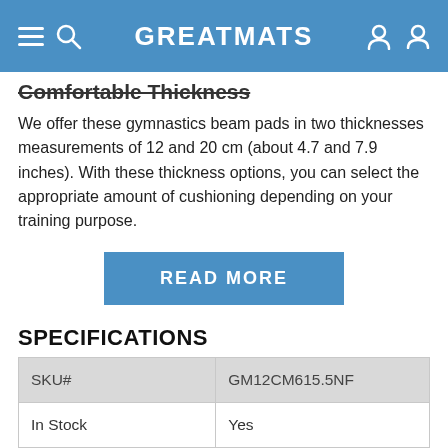GREATMATS
Comfortable Thickness
We offer these gymnastics beam pads in two thicknesses measurements of 12 and 20 cm (about 4.7 and 7.9 inches). With these thickness options, you can select the appropriate amount of cushioning depending on your training purpose.
[Figure (other): READ MORE button - blue rectangular call-to-action button]
SPECIFICATIONS
| SKU# | GM12CM615.5NF |
| In Stock | Yes |
| Product Type | Mat |
| Material Type | Vinyl covered Foam |